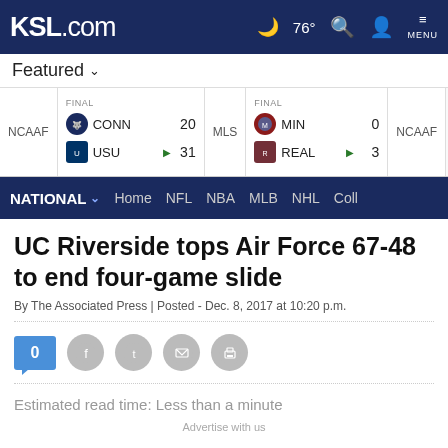KSL.com — 76° MENU
Featured
| League | Status | Team | Score | Team | Score |
| --- | --- | --- | --- | --- | --- |
| NCAAF | FINAL | CONN | 20 | USU | 31 |
| MLS | FINAL | MIN | 0 | REAL | 3 |
| NCAAF |  |  |  |  |  |
UC Riverside tops Air Force 67-48 to end four-game slide
By The Associated Press | Posted - Dec. 8, 2017 at 10:20 p.m.
0
Estimated read time: Less than a minute
Advertise with us